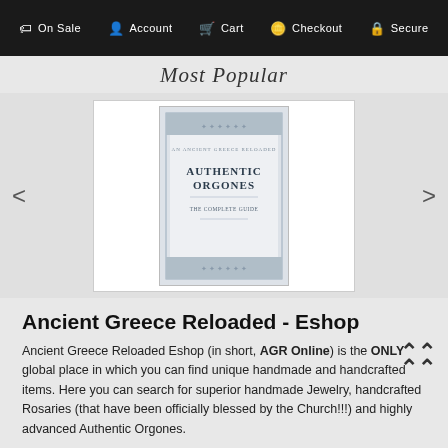On Sale  Account  Cart  Checkout  Secure
Most Popular
[Figure (illustration): Book cover for 'Authentic Orgones - The Complete Guide' shown inside a white bordered carousel with left and right navigation arrows]
Ancient Greece Reloaded - Eshop
Ancient Greece Reloaded Eshop (in short, AGR Online) is the ONLY global place in which you can find unique handmade and handcrafted items. Here you can search for superior handmade Jewelry, handcrafted Rosaries (that have been officially blessed by the Church!!!) and highly advanced Authentic Orgones.